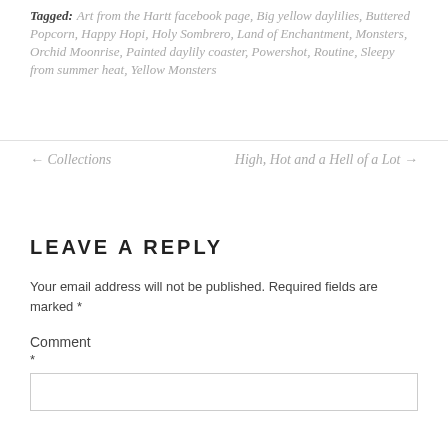Tagged: Art from the Hartt facebook page, Big yellow daylilies, Buttered Popcorn, Happy Hopi, Holy Sombrero, Land of Enchantment, Monsters, Orchid Moonrise, Painted daylily coaster, Powershot, Routine, Sleepy from summer heat, Yellow Monsters
← Collections    High, Hot and a Hell of a Lot →
LEAVE A REPLY
Your email address will not be published. Required fields are marked *
Comment *